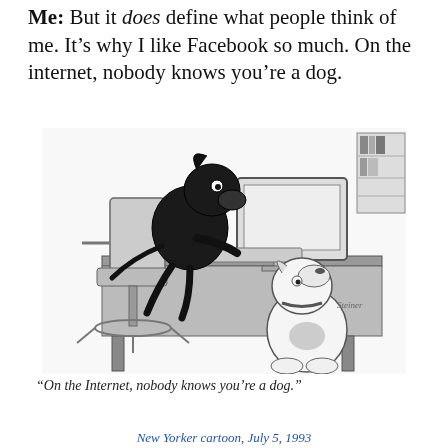Me: But it does define what people think of me. It's why I like Facebook so much. On the internet, nobody knows you're a dog.
[Figure (illustration): Classic New Yorker cartoon by Peter Steiner showing a dog sitting at a computer desk typing, while another dog looks up at it from the floor. The setting is an office with a computer monitor, desk, and chair.]
"On the Internet, nobody knows you're a dog."
New Yorker cartoon, July 5, 1993